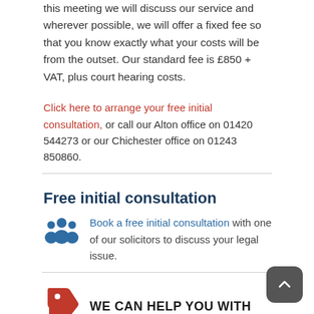this meeting we will discuss our service and wherever possible, we will offer a fixed fee so that you know exactly what your costs will be from the outset. Our standard fee is £850 + VAT, plus court hearing costs.
Click here to arrange your free initial consultation, or call our Alton office on 01420 544273 or our Chichester office on 01243 850860.
Free initial consultation
Book a free initial consultation with one of our solicitors to discuss your legal issue.
WE CAN HELP YOU WITH
Civil partnership
Business – Commercial contracts | Company law | Partnership law
Conveyancing – commercial